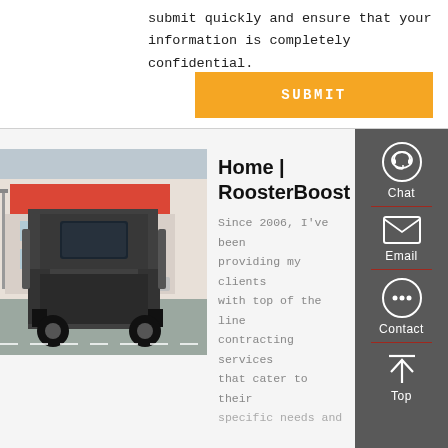submit quickly and ensure that your information is completely confidential.
SUBMIT
[Figure (photo): Rear view of a large truck/semi-trailer in a parking area with commercial buildings in background]
Home | RoosterBoost
Since 2006, I've been providing my clients with top of the line contracting services that cater to their specific needs and